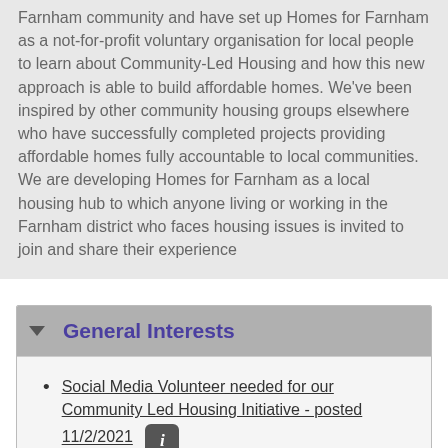Farnham community and have set up Homes for Farnham as a not-for-profit voluntary organisation for local people to learn about Community-Led Housing and how this new approach is able to build affordable homes. We've been inspired by other community housing groups elsewhere who have successfully completed projects providing affordable homes fully accountable to local communities. We are developing Homes for Farnham as a local housing hub to which anyone living or working in the Farnham district who faces housing issues is invited to join and share their experience
General Interests
Social Media Volunteer needed for our Community Led Housing Initiative - posted 11/2/2021
Fill in an application